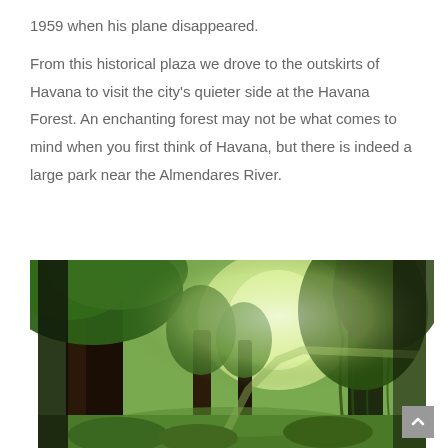1959 when his plane disappeared.
From this historical plaza we drove to the outskirts of Havana to visit the city's quieter side at the Havana Forest. An enchanting forest may not be what comes to mind when you first think of Havana, but there is indeed a large park near the Almendares River.
[Figure (photo): A lush green forest path with large trees forming a natural canopy overhead. The scene shows the Havana Forest near the Almendares River, with dense green foliage, large tree trunks, and a pathway leading into the distance under bright sunlight filtering through the trees.]